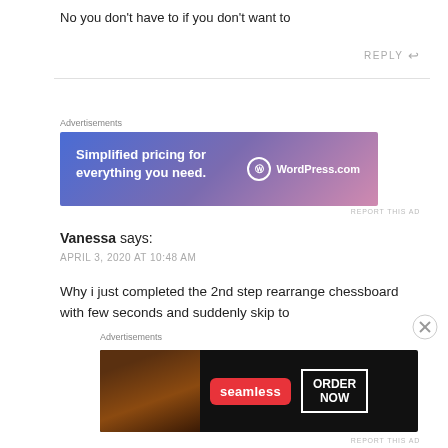No you don't have to if you don't want to
REPLY
[Figure (screenshot): WordPress.com advertisement banner with gradient blue-pink background. Text: 'Simplified pricing for everything you need.' with WordPress.com logo on right.]
REPORT THIS AD
Vanessa says:
APRIL 3, 2020 AT 10:48 AM
Why i just completed the 2nd step rearrange chessboard with few seconds and suddenly skip to
[Figure (screenshot): Seamless food delivery advertisement banner with dark background, pizza image on left, Seamless red badge in center, ORDER NOW button on right.]
REPORT THIS AD